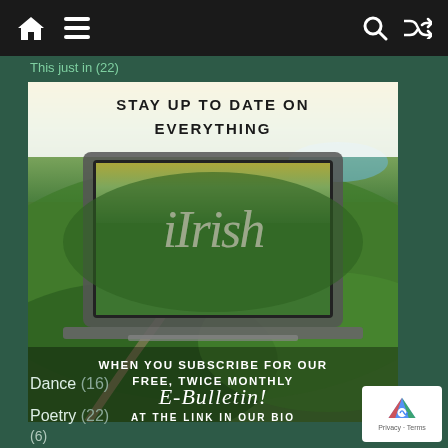Navigation bar with home, menu, search, and shuffle icons
This just in (22)
[Figure (illustration): iIrish promotional banner showing a laptop with aerial Irish countryside view. Text reads: STAY UP TO DATE ON EVERYTHING iIrish WHEN YOU SUBSCRIBE FOR OUR FREE, TWICE MONTHLY E-Bulletin! AT THE LINK IN OUR BIO]
(6)
Dance (16)
Poetry (22)